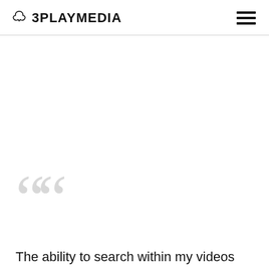3PLAYMEDIA
The ability to search within my videos